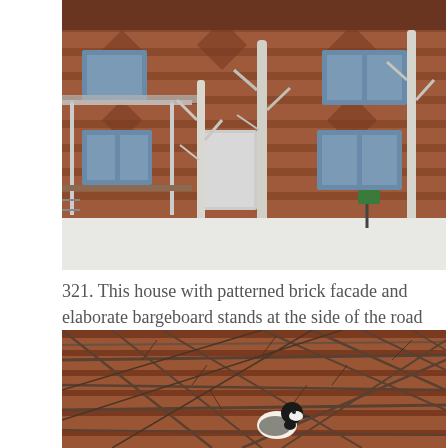[Figure (photo): A two-storey red brick house with patterned brick facade and elaborate bargeboard, photographed in winter with snow on the ground and bare birch trees in front.]
321. This house with patterned brick facade and elaborate bargeboard stands at the side of the road …
[Figure (photo): A bird (appears to be a chickadee) perched among dense bare winter branches in front of a red brick wall.]